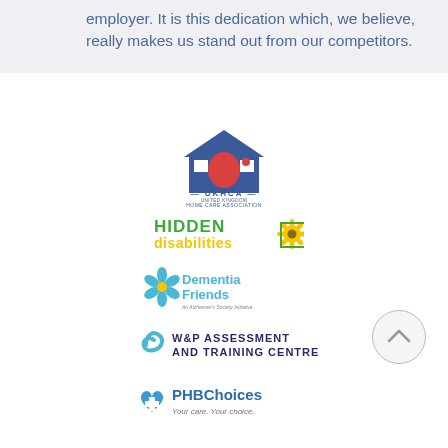employer. It is this dedication which, we believe, really makes us stand out from our competitors.
[Figure (logo): UKHCA - United Kingdom Home Care Association logo with house and UK map graphic]
[Figure (logo): Hidden Disabilities logo with sunflower]
[Figure (logo): Dementia Friends - An Alzheimer's Society Initiative logo with blue forget-me-not flower]
[Figure (logo): W&P Assessment and Training Centre logo with blue swirl]
[Figure (logo): PHBChoices - Your care. Your choice. logo with blue cross heart]
[Figure (logo): ICO - Information Commissioner's Office logo]
[Figure (logo): Alzheimer's Society logo (partially visible at bottom)]